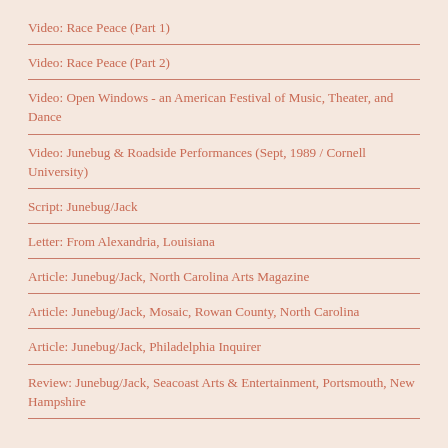Video: Race Peace (Part 1)
Video: Race Peace (Part 2)
Video: Open Windows - an American Festival of Music, Theater, and Dance
Video: Junebug & Roadside Performances (Sept, 1989 / Cornell University)
Script: Junebug/Jack
Letter: From Alexandria, Louisiana
Article: Junebug/Jack, North Carolina Arts Magazine
Article: Junebug/Jack, Mosaic, Rowan County, North Carolina
Article: Junebug/Jack, Philadelphia Inquirer
Review: Junebug/Jack, Seacoast Arts & Entertainment, Portsmouth, New Hampshire